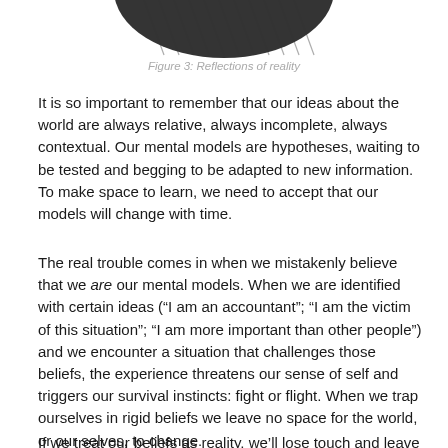[Figure (illustration): Partial view of a dark, sketched/hatched circular or head-like shape at the top of the page, cropped at the top edge.]
Figure 3: Reflections of reality
It is so important to remember that our ideas about the world are always relative, always incomplete, always contextual. Our mental models are hypotheses, waiting to be tested and begging to be adapted to new information. To make space to learn, we need to accept that our models will change with time.
The real trouble comes in when we mistakenly believe that we are our mental models. When we are identified with certain ideas (“I am an accountant”; “I am the victim of this situation”; “I am more important than other people”) and we encounter a situation that challenges those beliefs, the experience threatens our sense of self and triggers our survival instincts: fight or flight. When we trap ourselves in rigid beliefs we leave no space for the world, or our selves, to change.
If we treat our beliefs as reality, we’ll lose touch and leave ourselves unable to